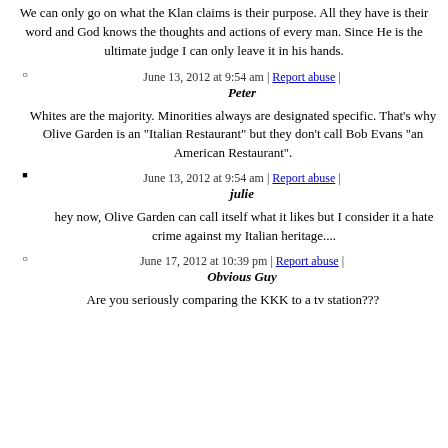We can only go on what the Klan claims is their purpose. All they have is their word and God knows the thoughts and actions of every man. Since He is the ultimate judge I can only leave it in his hands.
June 13, 2012 at 9:54 am | Report abuse |
Peter
Whites are the majority. Minorities always are designated specific. That's why Olive Garden is an "Italian Restaurant" but they don't call Bob Evans "an American Restaurant".
June 13, 2012 at 9:54 am | Report abuse |
julie
hey now, Olive Garden can call itself what it likes but I consider it a hate crime against my Italian heritage....
June 17, 2012 at 10:39 pm | Report abuse |
Obvious Guy
Are you seriously comparing the KKK to a tv station???